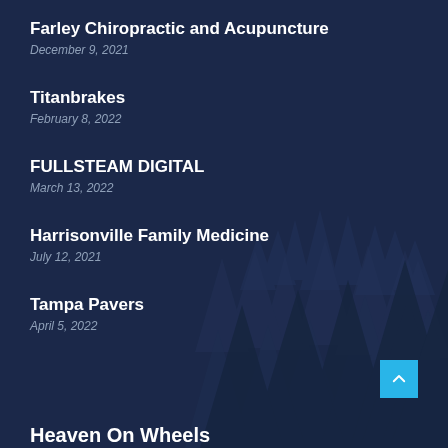Farley Chiropractic and Acupuncture
December 9, 2021
Titanbrakes
February 8, 2022
FULLSTEAM DIGITAL
March 13, 2022
Harrisonville Family Medicine
July 12, 2021
Tampa Pavers
April 5, 2022
Heaven On Wheels